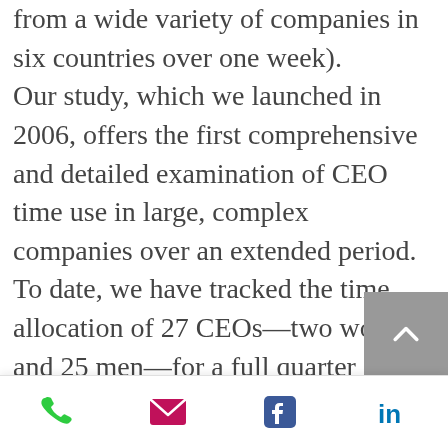from a wide variety of companies in six countries over one week). Our study, which we launched in 2006, offers the first comprehensive and detailed examination of CEO time use in large, complex companies over an extended period. To date, we have tracked the time allocation of 27 CEOs—two women and 25 men—for a full quarter (three months) each. Their companies, which are primarily public, had an average annual revenue of $13.1 billion during the study period. These leaders were all participants in the New CEO Workshop, an intensive program that every year brings newly appointed CEOs of large companies to Harvard Business School in two...